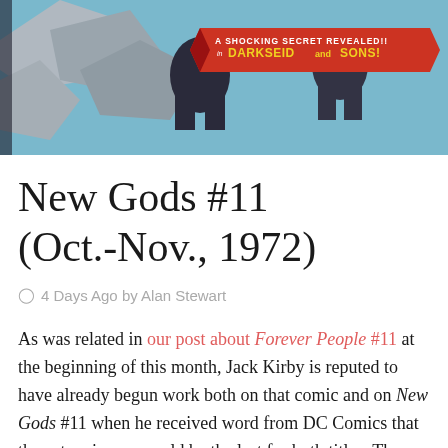[Figure (illustration): Comic book cover for New Gods / Darkseid and Sons, showing action illustration with blue background and banner reading 'A SHOCKING SECRET REVEALED!! in DARKSEID and SONS!']
New Gods #11 (Oct.-Nov., 1972)
4 Days Ago by Alan Stewart
As was related in our post about Forever People #11 at the beginning of this month, Jack Kirby is reputed to have already begun work both on that comic and on New Gods #11 when he received word from DC Comics that those two issues would be the last for both titles. The